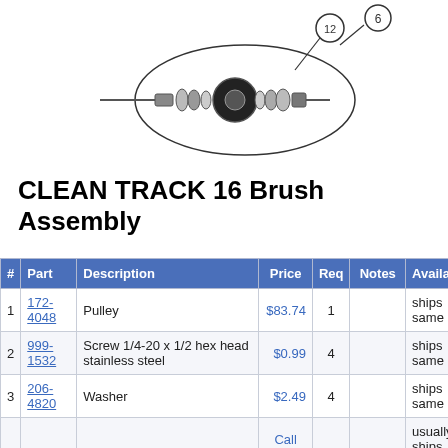[Figure (engineering-diagram): Exploded diagram of CLEAN TRACK 16 Brush Assembly components, showing a pulley, screws, and washers with part callout number 12 and part callout number 6 visible.]
CLEAN TRACK 16 Brush Assembly
| # | Part | Description | Price | Req | Notes | Availa… |
| --- | --- | --- | --- | --- | --- | --- |
| 1 | 172-4048 | Pulley | $83.74 | 1 |  | ships same |
| 2 | 999-1532 | Screw 1/4-20 x 1/2 hex head stainless steel | $0.99 | 4 |  | ships same |
| 3 | 206-4820 | Washer | $2.49 | 4 |  | ships same |
| 4 | N/A | Not available | Call for price | 2 | (screw) | usually ships 3 days |
| 5 | 272-9978 | Screw 10-14 x 1/2 pan head phillips plastite | $9.50 | 3 |  | usually ships 5 |